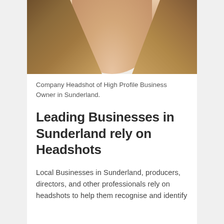[Figure (photo): Close-up photo of a woman with brown highlighted hair wearing a white top, cropped to show neck and hair area — company headshot of a high profile business owner in Sunderland.]
Company Headshot of High Profile Business Owner in Sunderland.
Leading Businesses in Sunderland rely on Headshots
Local Businesses in Sunderland, producers, directors, and other professionals rely on headshots to help them recognise and identify